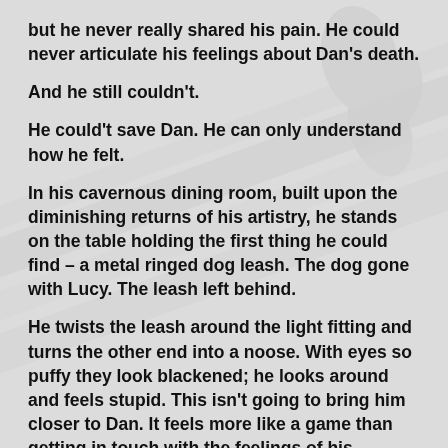but he never really shared his pain. He could never articulate his feelings about Dan's death.
And he still couldn't.
He could't save Dan. He can only understand how he felt.
In his cavernous dining room, built upon the diminishing returns of his artistry, he stands on the table holding the first thing he could find – a metal ringed dog leash. The dog gone with Lucy. The leash left behind.
He twists the leash around the light fitting and turns the other end into a noose. With eyes so puffy they look blackened; he looks around and feels stupid. This isn't going to bring him closer to Dan. It feels more like a game than getting in touch with the feelings of his